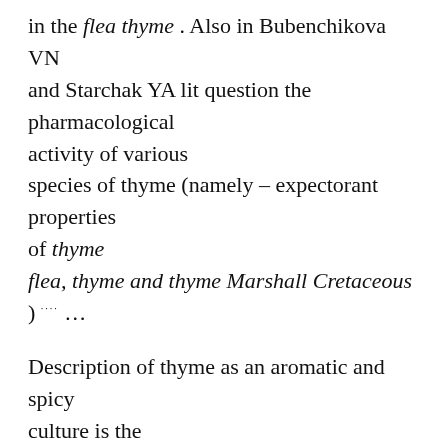in the flea thyme . Also in Bubenchikova VN and Starchak YA lit question the pharmacological activity of various species of thyme (namely – expectorant properties of thyme flea, thyme and thyme Marshall Cretaceous ) ···· …
Description of thyme as an aromatic and spicy culture is the aim of the study of I. Ye. Anishchenko, S. V. Kucherova, O. Zhigunova. Yu ·
In dietetics